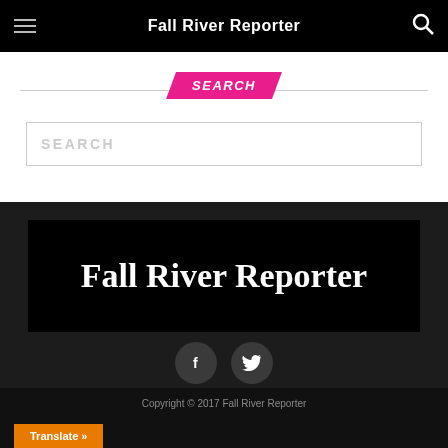Fall River Reporter
SEARCH
SEARCH (input placeholder)
[Figure (logo): Fall River Reporter logo — white bold serif text on black background]
[Figure (infographic): Social media icons: Facebook (f) and Twitter (bird) circles on dark background]
Copyright © 2017 Fall River Reporter
Translate »